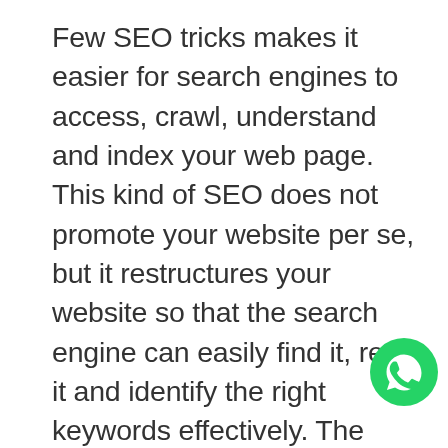Few SEO tricks makes it easier for search engines to access, crawl, understand and index your web page. This kind of SEO does not promote your website per se, but it restructures your website so that the search engine can easily find it, read it and identify the right keywords effectively. The advantages? This leads to ranking higher in search results. A good technical team like Brandloom can optimise your website for search engines. The easier you make it for a search engine to crawl your website, the more is your chance of getting to the audience and the chance of higher ranking
[Figure (logo): WhatsApp logo icon — green circle with white phone handset speech bubble]